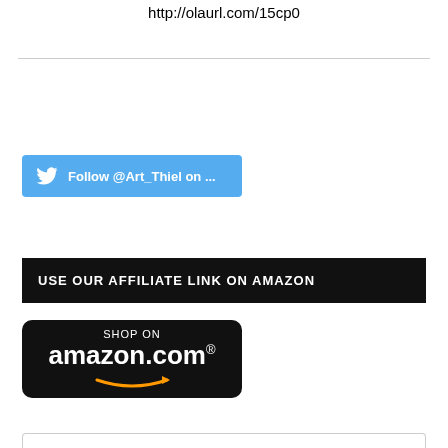http://olaurl.com/15cp0
[Figure (other): Twitter follow button with bird icon: Follow @Art_Thiel on ...]
USE OUR AFFILIATE LINK ON AMAZON
[Figure (logo): Amazon.com shop button with SHOP ON amazon.com text and smile arrow logo on black rounded background]